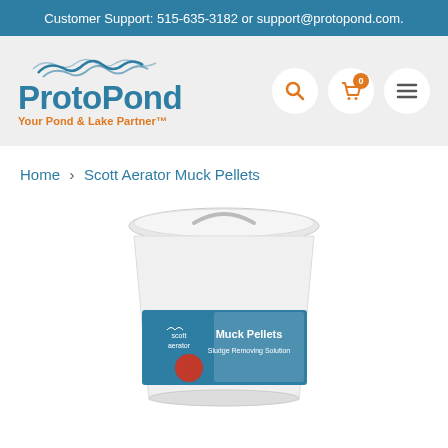Customer Support: 515-635-3182 or support@protopond.com.
[Figure (logo): ProtoPond logo with wave graphic and tagline 'Your Pond & Lake Partner™']
[Figure (other): Navigation icons: search (magnifying glass), shopping cart with badge '0', hamburger menu]
Home › Scott Aerator Muck Pellets
[Figure (photo): White bucket/pail of Scott Aerator Muck Pellets product, partially cropped at bottom of page]